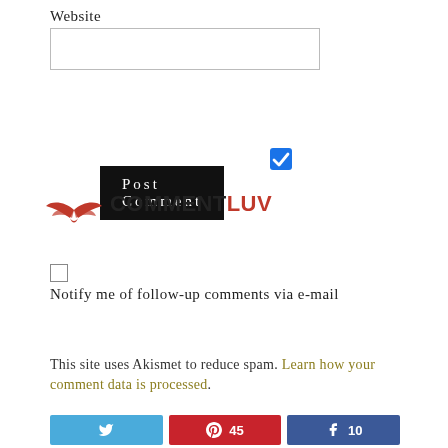Website
[Figure (screenshot): Empty text input box for Website field]
[Figure (screenshot): Black 'Post Comment' button with white spaced text]
[Figure (screenshot): Blue checked checkbox]
[Figure (logo): CommentLuv logo with red wing icon and text COMMENT in dark and LUV in red]
[Figure (screenshot): Empty unchecked checkbox]
Notify me of follow-up comments via e-mail
This site uses Akismet to reduce spam. Learn how your comment data is processed.
[Figure (screenshot): Social sharing bar with Twitter, Pinterest (45), and Facebook (10) buttons]